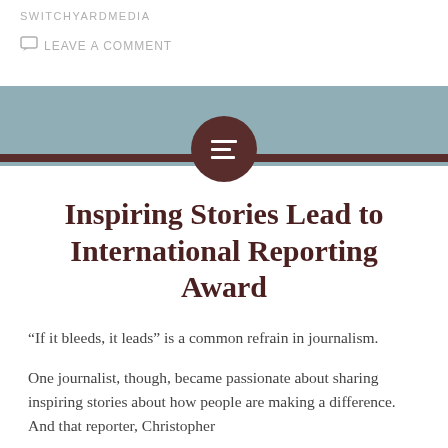SWITCHYARDMEDIA
LEAVE A COMMENT
[Figure (illustration): Teal/blue-gray banner bar with a dark brown horizontal line and a dark brown circle in the center containing a white lines/text icon]
Inspiring Stories Lead to International Reporting Award
“If it bleeds, it leads” is a common refrain in journalism.
One journalist, though, became passionate about sharing inspiring stories about how people are making a difference. And that reporter, Christopher